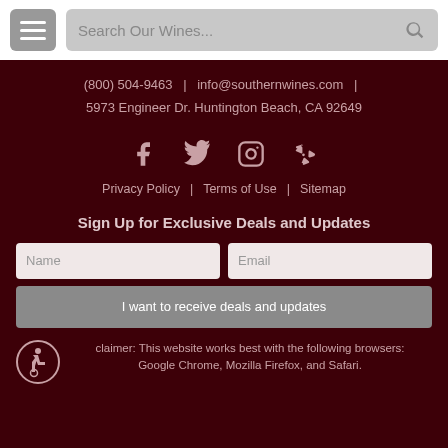[Figure (screenshot): Navigation header with hamburger menu button and search bar reading 'Search Our Wines...']
(800) 504-9463 | info@southernwines.com | 5973 Engineer Dr. Huntington Beach, CA 92649
[Figure (infographic): Social media icons: Facebook, Twitter, Instagram, Yelp]
Privacy Policy | Terms of Use | Sitemap
Sign Up for Exclusive Deals and Updates
[Figure (screenshot): Email signup form with Name and Email fields and a submit button 'I want to receive deals and updates']
Disclaimer: This website works best with the following browsers: Google Chrome, Mozilla Firefox, and Safari.